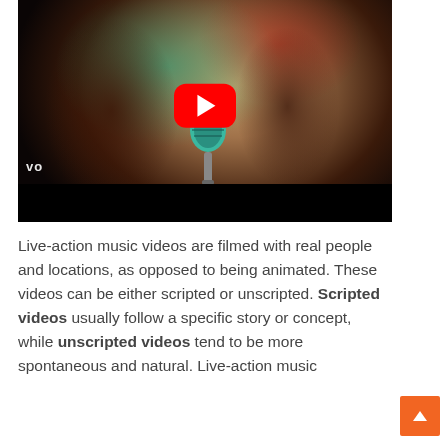[Figure (photo): YouTube video thumbnail showing a woman with long hair singing into a microphone under teal and red stage lighting, with a YouTube play button overlay. A black bar appears at the bottom. A 'vo' (Vevo) watermark is visible at lower left.]
Live-action music videos are filmed with real people and locations, as opposed to being animated. These videos can be either scripted or unscripted. Scripted videos usually follow a specific story or concept, while unscripted videos tend to be more spontaneous and natural. Live-action music